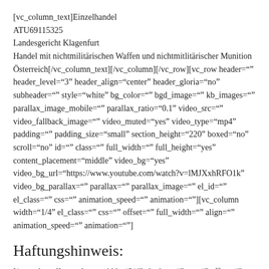[vc_column_text]Einzelhandel ATU69115325 Landesgericht Klagenfurt Handel mit nichtmilitärischen Waffen und nichtmitlitärischer Munition Österreich[/vc_column_text][/vc_column][/vc_row][vc_row header="" header_level="3" header_align="center" header_gloria="no" subheader="" style="white" bg_color="" bgd_image="" kb_images="" parallax_image_mobile="" parallax_ratio="0.1" video_src="" video_fallback_image="" video_muted="yes" video_type="mp4" padding="" padding_size="small" section_height="220" boxed="no" scroll="no" id="" class="" full_width="" full_height="yes" content_placement="middle" video_bg="yes" video_bg_url="https://www.youtube.com/watch?v=lMJXxhRFO1k" video_bg_parallax="" parallax="" parallax_image="" el_id="" el_class="" css="" animation_speed="" animation=""][vc_column width="1/4" el_class="" css="" offset="" full_width="" align="" animation_speed="" animation=""]
Haftungshinweis:
[/vc_column][vc_column width="3/4" el_class="" css="" offset="" full_width="" align="" animation_speed="" animation=""]